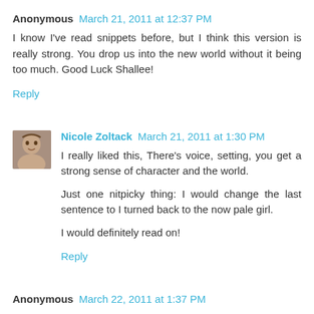Anonymous  March 21, 2011 at 12:37 PM
I know I've read snippets before, but I think this version is really strong. You drop us into the new world without it being too much. Good Luck Shallee!
Reply
Nicole Zoltack  March 21, 2011 at 1:30 PM
I really liked this, There's voice, setting, you get a strong sense of character and the world.
Just one nitpicky thing: I would change the last sentence to I turned back to the now pale girl.
I would definitely read on!
Reply
Anonymous  March 22, 2011 at 1:37 PM